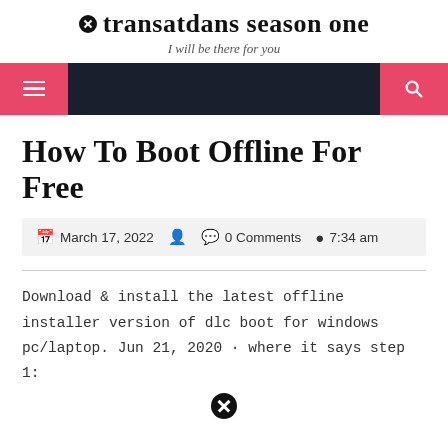transatdans season one — I will be there for you
How To Boot Offline For Free
March 17, 2022   0 Comments   7:34 am
Download & install the latest offline installer version of dlc boot for windows pc/laptop. Jun 21, 2020 · where it says step 1: